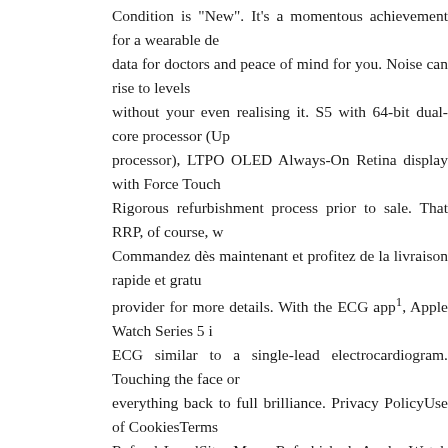Condition is "New". It's a momentous achievement for a wearable de... data for doctors and peace of mind for you. Noise can rise to levels ... without your even realising it. S5 with 64-bit dual-core processor (Up... processor), LTPO OLED Always-On Retina display with Force Touch ... Rigorous refurbishment process prior to sale. That RRP, of course, w... Commandez dès maintenant et profitez de la livraison rapide et gratu... provider for more details. With the ECG app¹, Apple Watch Series 5 i... ECG similar to a single-lead electrocardiogram. Touching the face or... everything back to full brilliance. Privacy PolicyUse of CookiesTerms... RefundsLegalSite Map. Refurbished Apple Watch Series 5 GPS + Ce... Case with White Sport Band. Wireless service plan required for cellu... the Heart Rate app, Apple Watch Series 5 can check your heart and... — so you can take action and consult your doctor. About this product... to emergency services almost anywhere in the world. GPS. To remain... life, hardware and software have to work in harmony². 5.0 out of 5 st... Gold. This means that they may be used for shallow-water activities l... ocean. 4,7 ... 40mm, 44mm. Apple Watch and iPhone service provide... 0800 048 0408. UK coverage checker. In addition to simply ensuring... have more information to help you track irregularities and symptoms,... your doctor. £1,221.17. John Lewis is accepting return claims until 28... emergency calling feature requires an Apple Watch Series 5 (GPS + ... app is not intended for use by people under 22 years old. Colour of w... now never been worn, still sealed in box. Apple Watch Series 5 (GR9...